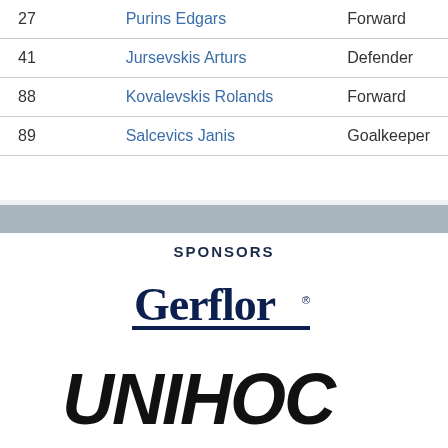| # | Name | Position |
| --- | --- | --- |
| 27 | Purins Edgars | Forward |
| 41 | Jursevskis Arturs | Defender |
| 88 | Kovalevskis Rolands | Forward |
| 89 | Salcevics Janis | Goalkeeper |
SPONSORS
[Figure (logo): Gerflor logo in dark navy blue with underline]
[Figure (logo): UNIHOC logo in bold black italic text]